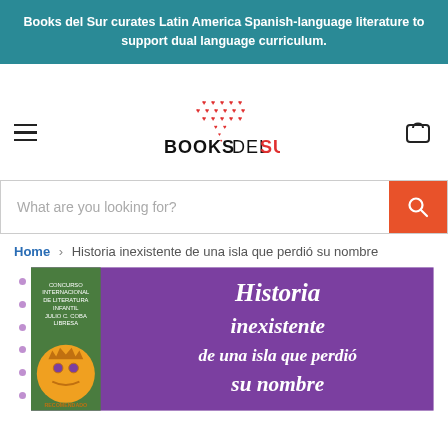Books del Sur curates Latin America Spanish-language literature to support dual language curriculum.
[Figure (logo): Books del Sur logo with red cross pattern of hearts above text BOOKSDELSUR]
[Figure (screenshot): Search bar with placeholder text 'What are you looking for?' and orange search button]
Home › Historia inexistente de una isla que perdió su nombre
[Figure (photo): Book cover: Historia inexistente de una isla que perdió su nombre - purple background with decorative white text, green panel on left with award designation, orange circular badge with decorative face and RECOMENDADO text]